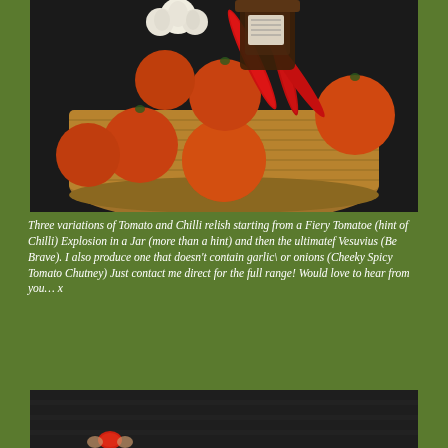[Figure (photo): A wicker basket filled with red tomatoes, red chilli peppers, garlic, and a jar of relish/sauce, on a dark background.]
Three variations of Tomato and Chilli relish starting from a Fiery Tomatoe (hint of Chilli) Explosion in a Jar (more than a hint) and then the ultimatef Vesuvius (Be Brave). I also produce one that doesn't contain garlic\ or onions (Cheeky Spicy Tomato Chutney) Just contact me direct for the full range! Would love to hear from you… x
[Figure (photo): Partial image at bottom showing a person holding or displaying something small, possibly a jar or produce, with dark clothing background — cropped.]